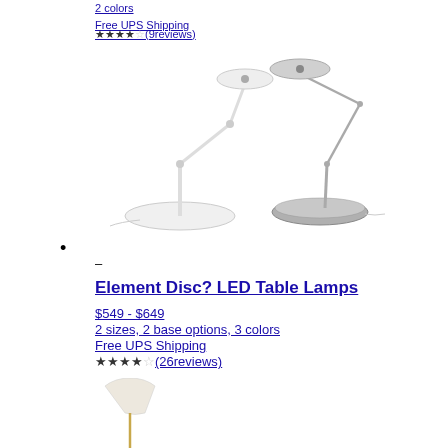2 colors
Free UPS Shipping
★★★★☆(9reviews)
[Figure (photo): Two adjustable arm LED desk lamps: one white and one silver/chrome, both with disc-shaped heads and round bases]
•
–
Element Disc? LED Table Lamps
$549 - $649
2 sizes, 2 base options, 3 colors
Free UPS Shipping
★★★★☆(26reviews)
[Figure (photo): A floor lamp with white shade and slim gold/brass pole, partially visible at bottom of page]